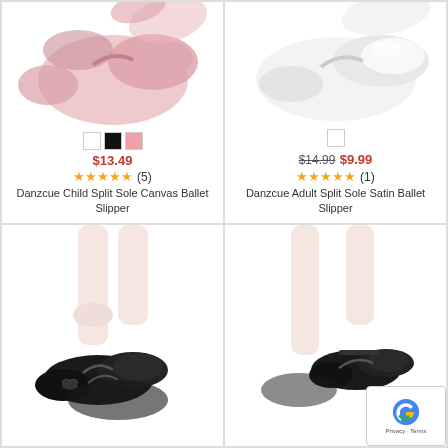[Figure (photo): Pink ballet slipper shoe product photo, top view]
$13.49
★★★★★ (5)
Danzcue Child Split Sole Canvas Ballet Slipper
[Figure (photo): White ballet slipper shoe product photo, top view]
$14.99  $9.99
★★★★★ (1)
Danzcue Adult Split Sole Satin Ballet Slipper
[Figure (photo): Black leather ballet slippers on feet, crossed legs view]
[Figure (photo): Black ballet slippers on feet, side view with legs]